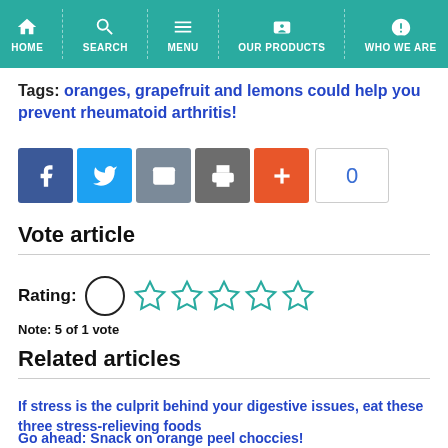HOME | SEARCH | MENU | OUR PRODUCTS | WHO WE ARE
Tags: oranges, grapefruit and lemons could help you prevent rheumatoid arthritis!
[Figure (other): Social sharing buttons: Facebook, Twitter, Email, Print, Plus, and a count showing 0]
Vote article
Rating: (circle icon) (5 stars) Note: 5 of 1 vote
Related articles
If stress is the culprit behind your digestive issues, eat these three stress-relieving foods
Go ahead: Snack on orange peel choccies!